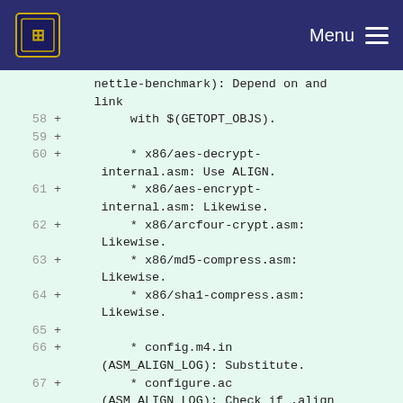Menu
nettle-benchmark): Depend on and link
58 +         with $(GETOPT_OBJS).
59 +
60 +         * x86/aes-decrypt-internal.asm: Use ALIGN.
61 +         * x86/aes-encrypt-internal.asm: Likewise.
62 +         * x86/arcfour-crypt.asm: Likewise.
63 +         * x86/md5-compress.asm: Likewise.
64 +         * x86/sha1-compress.asm: Likewise.
65 +
66 +         * config.m4.in (ASM_ALIGN_LOG): Substitute.
67 +         * configure.ac (ASM_ALIGN_LOG): Check if .align directive is